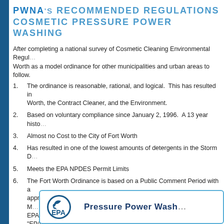PWNA's RECOMMENDED REGULATIONS COSMETIC PRESSURE POWER WASHING
After completing a national survey of Cosmetic Cleaning Environmental Regulations, PWNA recommends the Fort Worth as a model ordinance for other municipalities and urban areas to follow.
The ordinance is reasonable, rational, and logical. This has resulted in a win-win solution for the City of Fort Worth, the Contract Cleaner, and the Environment.
Based on voluntary compliance since January 2, 1996. A 13 year history of compliance.
Almost no Cost to the City of Fort Worth
Has resulted in one of the lowest amounts of detergents in the Storm Drain System in the Country.
Meets the EPA NPDES Permit Limits
The Fort Worth Ordinance is based on a Public Comment Period with a conference that was attended by approximately 100 contract cleaners and 40 regulators representing Municipal Storm Water Managers and EPA Regulators. This conference is now on youtube at "EPAPowerWashing".
The Fort Worth Ordinance is posted on the EPAs website as a model ordinance.
[Figure (logo): EPA logo with text 'Pressure Power Washing']